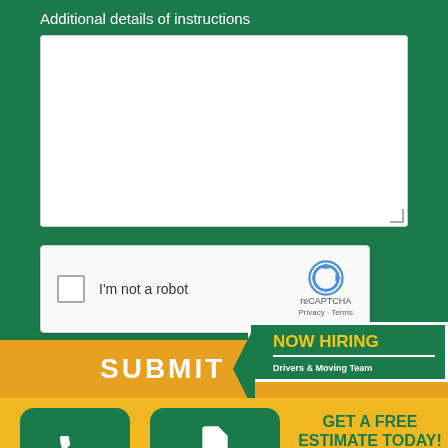Additional details of instructions
[Figure (screenshot): White textarea input box for additional details]
[Figure (screenshot): reCAPTCHA widget with checkbox 'I'm not a robot' and reCAPTCHA logo with Privacy and Terms links]
SUBMIT
NOW HIRING
Drivers & Moving Team
[Figure (screenshot): Call button - green rounded square with phone icon and 'Call' label]
[Figure (screenshot): Free Quote button - green rounded square with document icon and 'Free Quote' label]
GET A FREE ESTIMATE TODAY!
Leave a message